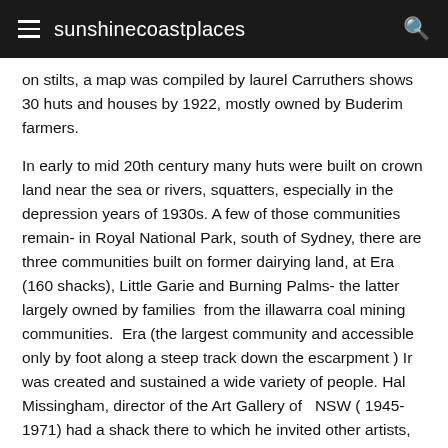sunshinecoastplaces
on stilts, a map was compiled by laurel Carruthers shows 30 huts and houses by 1922, mostly owned by Buderim farmers.
In early to mid 20th century many huts were built on crown land near the sea or rivers, squatters, especially in the depression years of 1930s. A few of those communities remain- in Royal National Park, south of Sydney, there are three communities built on former dairying land, at Era (160 shacks), Little Garie and Burning Palms- the latter largely owned by families from the illawarra coal mining communities. Era (the largest community and accessible only by foot along a steep track down the escarpment ) Ir was created and sustained a wide variety of people. Hal Missingham, director of the Art Gallery of NSW ( 1945-1971) had a shack there to which he invited other artists, including Margaret Olley, David Boyd and Max Dupain.The